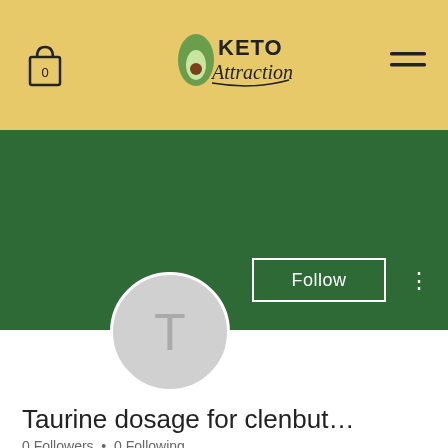Keto Attraction — navigation header with cart, logo, and menu
[Figure (screenshot): Green profile banner with Follow button and three-dot menu]
[Figure (illustration): Circular avatar placeholder with letter T]
Taurine dosage for clenbut…
0 Followers • 0 Following
[Figure (screenshot): Dropdown/accordion collapsed box with chevron]
[Figure (screenshot): Social media footer bar with email, Facebook, and Instagram icons]